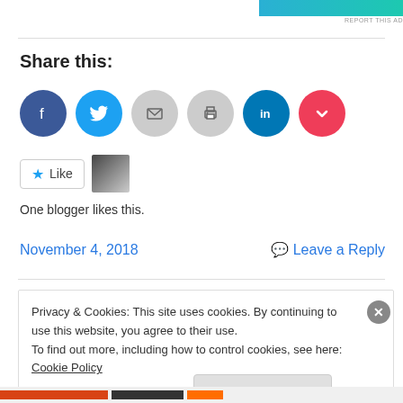[Figure (other): Advertisement banner with teal/cyan gradient color and 'REPORT THIS AD' text]
Share this:
[Figure (infographic): Row of six social sharing icon circles: Facebook (dark blue), Twitter (light blue), Email (gray), Print (gray), LinkedIn (dark blue), Pocket (red/pink)]
[Figure (other): Like button widget with star icon and blogger avatar thumbnail]
One blogger likes this.
November 4, 2018
Leave a Reply
Privacy & Cookies: This site uses cookies. By continuing to use this website, you agree to their use.
To find out more, including how to control cookies, see here: Cookie Policy
Close and accept